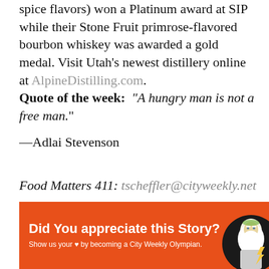spice flavors) won a Platinum award at SIP while their Stone Fruit primrose-flavored bourbon whiskey was awarded a gold medal. Visit Utah's newest distillery online at AlpineDistilling.com.
Quote of the week: "A hungry man is not a free man."
—Adlai Stevenson
Food Matters 411: tscheffler@cityweekly.net
TAGS
FOOD NEWS
[Figure (infographic): Orange banner advertisement reading 'Did you appreciate this story? Show us your heart by becoming a City Weekly Olympian.' with an illustrated Zeus/Olympian figure on the right.]